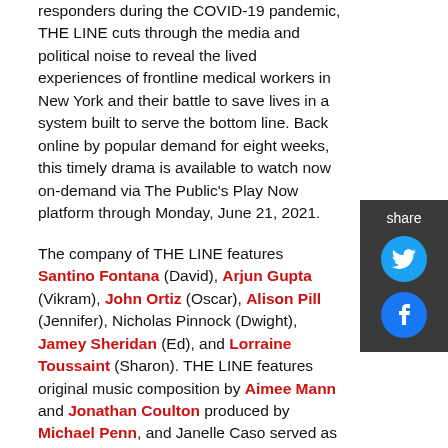responders during the COVID-19 pandemic, THE LINE cuts through the media and political noise to reveal the lived experiences of frontline medical workers in New York and their battle to save lives in a system built to serve the bottom line. Back online by popular demand for eight weeks, this timely drama is available to watch now on-demand via The Public's Play Now platform through Monday, June 21, 2021.
The company of THE LINE features Santino Fontana (David), Arjun Gupta (Vikram), John Ortiz (Oscar), Alison Pill (Jennifer), Nicholas Pinnock (Dwight), Jamey Sheridan (Ed), and Lorraine Toussaint (Sharon). THE LINE features original music composition by Aimee Mann and Jonathan Coulton produced by Michael Penn, and Janelle Caso served as production stage manager.